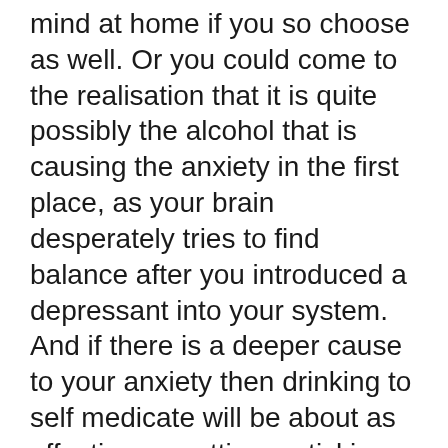mind at home if you so choose as well. Or you could come to the realisation that it is quite possibly the alcohol that is causing the anxiety in the first place, as your brain desperately tries to find balance after you introduced a depressant into your system. And if there is a deeper cause to your anxiety then drinking to self medicate will be about as effective as putting a sticking plaster onto a severed jugular vein. Additionally, any therapy or treatment you undergo for mental health issues will be completely undermined by alcohol.
And the only thing that alcohol will bring you in